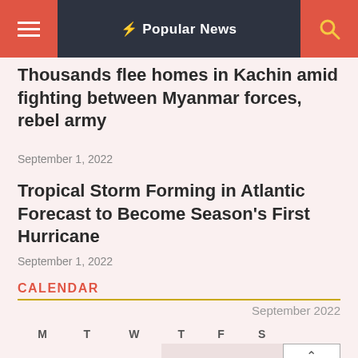Popular News
Thousands flee homes in Kachin amid fighting between Myanmar forces, rebel army
September 1, 2022
Tropical Storm Forming in Atlantic Forecast to Become Season's First Hurricane
September 1, 2022
CALENDAR
September 2022
| M | T | W | T | F | S |  |
| --- | --- | --- | --- | --- | --- | --- |
|  |  |  | 1 | 2 | 3 | 4 |